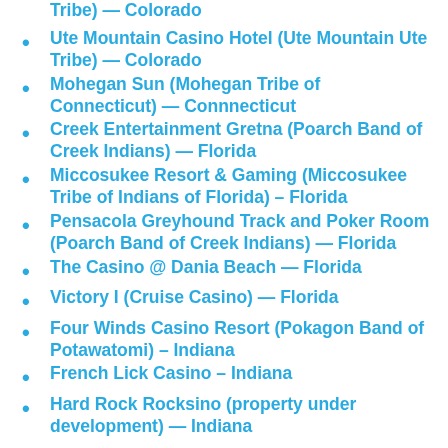Tribe) — Colorado
Ute Mountain Casino Hotel (Ute Mountain Ute Tribe) — Colorado
Mohegan Sun (Mohegan Tribe of Connecticut) — Connnecticut
Creek Entertainment Gretna (Poarch Band of Creek Indians) — Florida
Miccosukee Resort & Gaming (Miccosukee Tribe of Indians of Florida) – Florida
Pensacola Greyhound Track and Poker Room (Poarch Band of Creek Indians) — Florida
The Casino @ Dania Beach — Florida
Victory I (Cruise Casino) — Florida
Four Winds Casino Resort (Pokagon Band of Potawatomi) – Indiana
French Lick Casino – Indiana
Hard Rock Rocksino (property under development) — Indiana